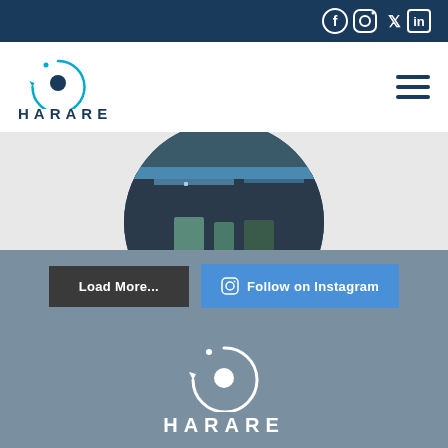Social media icons: Facebook, Instagram, Twitter, LinkedIn
[Figure (logo): Harare logo with circular orbit icon and text HARARE]
[Figure (photo): Circular cropped photo showing a dark interior scene with shelving]
Load More...
Follow on Instagram
[Figure (logo): Harare white logo on gray background with circular orbit icon and text HARARE]